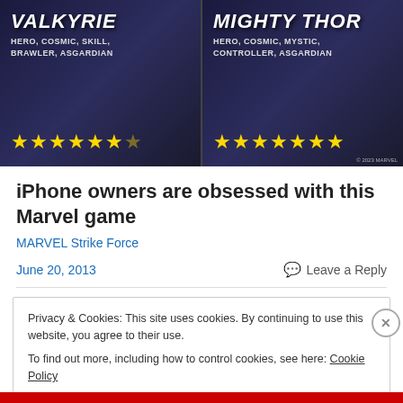[Figure (screenshot): Marvel Strike Force game banner showing two characters: Valkyrie (Hero, Cosmic, Skill, Brawler, Asgardian with star rating) on the left and Mighty Thor (Hero, Cosmic, Mystic, Controller, Asgardian with star rating) on the right, both with gold star ratings on dark blue background.]
iPhone owners are obsessed with this Marvel game
MARVEL Strike Force
June 20, 2013
Leave a Reply
Privacy & Cookies: This site uses cookies. By continuing to use this website, you agree to their use.
To find out more, including how to control cookies, see here: Cookie Policy